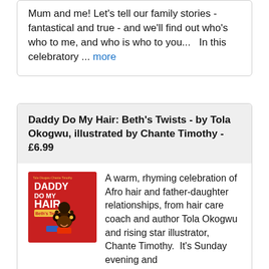Mum and me! Let's tell our family stories - fantastical and true - and we'll find out who's who to me, and who is who to you...   In this celebratory ... more
Daddy Do My Hair: Beth's Twists - by Tola Okogwu, illustrated by Chante Timothy - £6.99
[Figure (illustration): Book cover of 'Daddy Do My Hair: Beth's Twists' - red background with illustration of a man doing a girl's hair, title text in bold white letters]
A warm, rhyming celebration of Afro hair and father-daughter relationships, from hair care coach and author Tola Okogwu and rising star illustrator, Chante Timothy.  It's Sunday evening and